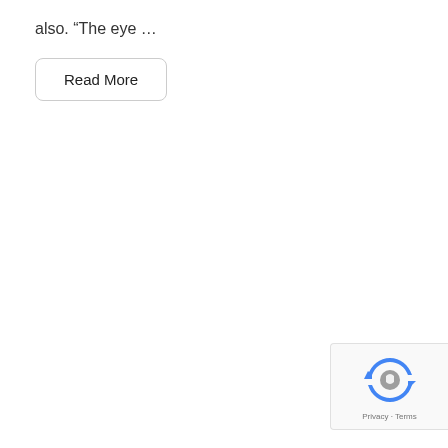also. “The eye …
Read More
[Figure (other): reCAPTCHA widget with Google logo and 'Privacy - Terms' text]